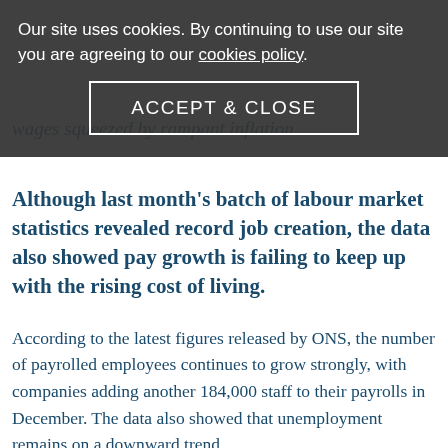Our site uses cookies. By continuing to use our site you are agreeing to our cookies policy.
ACCEPT & CLOSE
wages squeezed by rampant inflation
Although last month's batch of labour market statistics revealed record job creation, the data also showed pay growth is failing to keep up with the rising cost of living.
According to the latest figures released by ONS, the number of payrolled employees continues to grow strongly, with companies adding another 184,000 staff to their payrolls in December. The data also showed that unemployment remains on a downward trend,